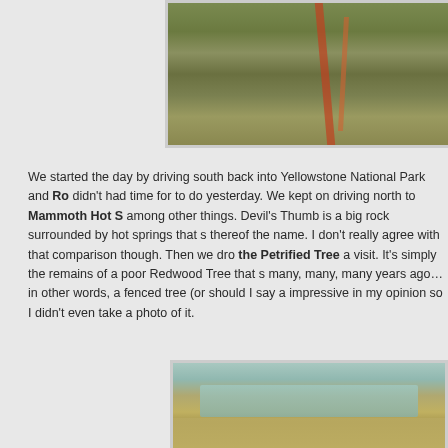[Figure (photo): Outdoor nature scene at Yellowstone, showing rocky terrain with mossy ground, fallen logs, and reddish tree trunks]
We started the day by driving south back into Yellowstone National Park and Ro didn't had time for to do yesterday. We kept on driving north to Mammoth Hot S among other things. Devil's Thumb is a big rock surrounded by hot springs that s thereof the name. I don't really agree with that comparison though. Then we dro the Petrified Tree a visit. It's simply the remains of a poor Redwood Tree that s many, many, many years ago… in other words, a fenced tree (or should I say a impressive in my opinion so I didn't even take a photo of it.
[Figure (photo): Mammoth Hot Springs terraces showing layered mineral deposits with turquoise water at the top and yellowish-tan travertine terraces below]